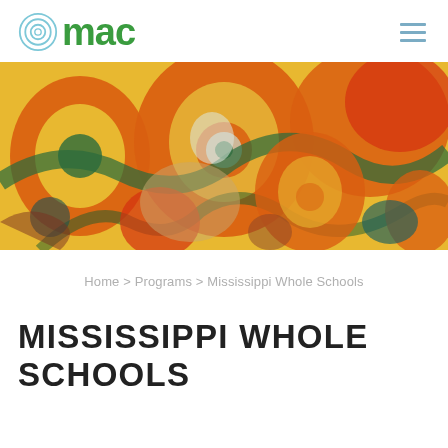[Figure (logo): MAC logo with circular concentric rings icon in light blue and green text spelling 'mac']
[Figure (photo): Colorful children's painting/mural with orange flowers or sunflowers on a yellow background with green and teal accents, displayed as a banner image]
Home > Programs > Mississippi Whole Schools
MISSISSIPPI WHOLE SCHOOLS